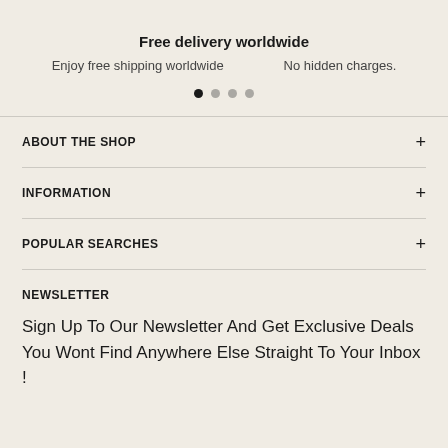Free delivery worldwide
Enjoy free shipping worldwide    No hidden charges.
[Figure (other): Four pagination dots, first one filled black, three lighter grey]
ABOUT THE SHOP
INFORMATION
POPULAR SEARCHES
NEWSLETTER
Sign Up To Our Newsletter And Get Exclusive Deals You Wont Find Anywhere Else Straight To Your Inbox !